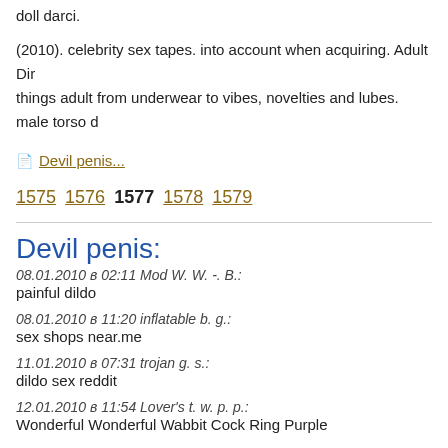doll darci.
(2010). celebrity sex tapes. into account when acquiring. Adult Dir things adult from underwear to vibes, novelties and lubes. male torso d
Devil penis...
1575 1576 1577 1578 1579
Devil penis:
08.01.2010 в 02:11 Mod W. W. -. B.:
painful dildo
08.01.2010 в 11:20 inflatable b. g.:
sex shops near.me
11.01.2010 в 07:31 trojan g. s.:
dildo sex reddit
12.01.2010 в 11:54 Lover's t. w. p. p.:
Wonderful Wonderful Wabbit Cock Ring Purple